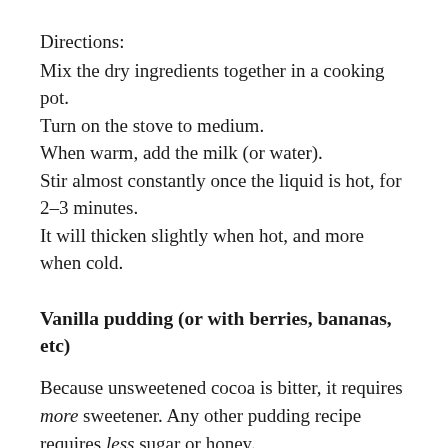Directions:
Mix the dry ingredients together in a cooking pot.
Turn on the stove to medium.
When warm, add the milk (or water).
Stir almost constantly once the liquid is hot, for 2–3 minutes.
It will thicken slightly when hot, and more when cold.
Vanilla pudding (or with berries, bananas, etc)
Because unsweetened cocoa is bitter, it requires more sweetener. Any other pudding recipe requires less sugar or honey.